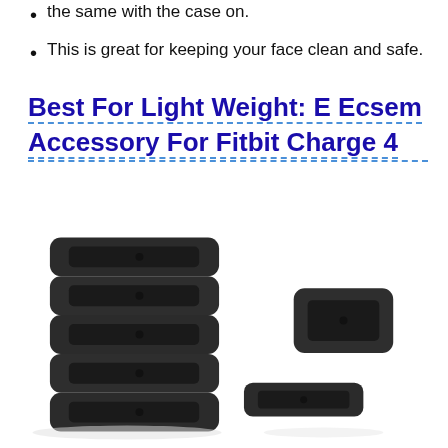the same with the case on.
This is great for keeping your face clean and safe.
Best For Light Weight: E Ecsem Accessory For Fitbit Charge 4
[Figure (photo): Photo of multiple black rectangular silicone watch band loop rings/keepers stacked together, with two individual pieces shown separately to the right, all on a white background.]